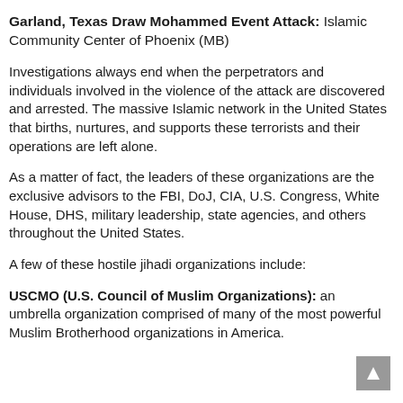Garland, Texas Draw Mohammed Event Attack: Islamic Community Center of Phoenix (MB)
Investigations always end when the perpetrators and individuals involved in the violence of the attack are discovered and arrested. The massive Islamic network in the United States that births, nurtures, and supports these terrorists and their operations are left alone.
As a matter of fact, the leaders of these organizations are the exclusive advisors to the FBI, DoJ, CIA, U.S. Congress, White House, DHS, military leadership, state agencies, and others throughout the United States.
A few of these hostile jihadi organizations include:
USCMO (U.S. Council of Muslim Organizations): an umbrella organization comprised of many of the most powerful Muslim Brotherhood organizations in America.